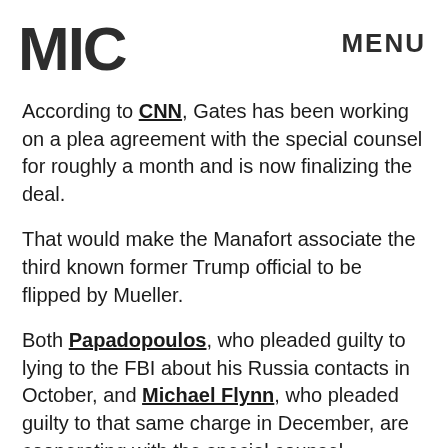MIC   MENU
According to CNN, Gates has been working on a plea agreement with the special counsel for roughly a month and is now finalizing the deal.
That would make the Manafort associate the third known former Trump official to be flipped by Mueller.
Both Papadopoulos, who pleaded guilty to lying to the FBI about his Russia contacts in October, and Michael Flynn, who pleaded guilty to that same charge in December, are cooperating with the special counsel.